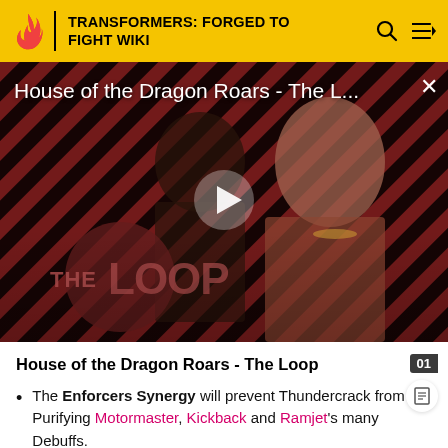TRANSFORMERS: FORGED TO FIGHT WIKI
[Figure (screenshot): Video thumbnail for 'House of the Dragon Roars - The L...' featuring two characters against a diagonal red and black striped background, with a play button overlay and 'THE LOOP' watermark logo.]
House of the Dragon Roars - The Loop
The Enforcers Synergy will prevent Thundercrack from Purifying Motormaster, Kickback and Ramjet's many Debuffs.
Mods